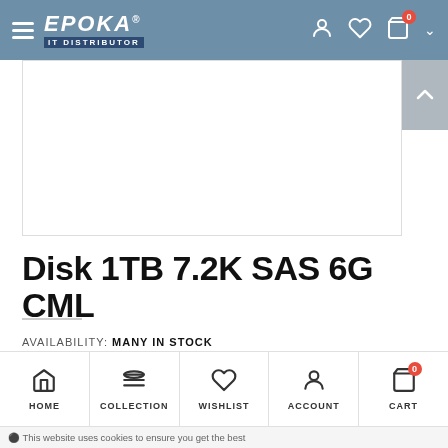EPOKA IT DISTRIBUTOR — navigation bar
[Figure (screenshot): Product image area (white/empty) with scroll-to-top button]
Disk 1TB 7.2K SAS 6G CML
AVAILABILITY: MANY IN STOCK
SKU:
CATEGORIES: BEST SELLING PRODUCTS, HP
HOME | COLLECTION | WISHLIST | ACCOUNT | CART
This website uses cookies to ensure you get the best